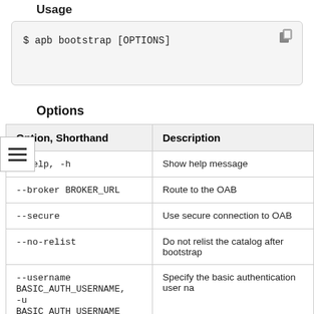Usage
$ apb bootstrap [OPTIONS]
Options
| Option, Shorthand | Description |
| --- | --- |
| --help, -h | Show help message |
| --broker BROKER_URL | Route to the OAB |
| --secure | Use secure connection to OAB |
| --no-relist | Do not relist the catalog after bootstrap |
| --username BASIC_AUTH_USERNAME,
-u BASIC_AUTH_USERNAME | Specify the basic authentication user name |